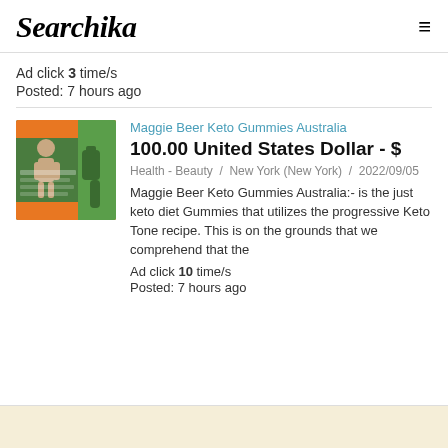Searchika
Ad click 3 time/s
Posted: 7 hours ago
Maggie Beer Keto Gummies Australia
100.00 United States Dollar - $
Health - Beauty / New York (New York) / 2022/09/05
Maggie Beer Keto Gummies Australia:- is the just keto diet Gummies that utilizes the progressive Keto Tone recipe. This is on the grounds that we comprehend that the
Ad click 10 time/s
Posted: 7 hours ago
[Figure (illustration): Product image for keto gummies supplement with green and orange packaging showing a muscular figure and text 'MELT FAT FAST! WITHOUT DIET OR EXERCISE']